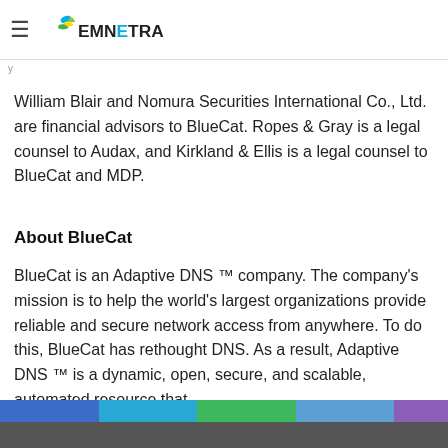EMNETRA (logo header)
waiting period required by the Hart-Scott-Rodino Act. At that point, MDP will assume control of BlueCat and MDP will fully realize its investment in BlueCat.
William Blair and Nomura Securities International Co., Ltd. are financial advisors to BlueCat. Ropes & Gray is a legal counsel to Audax, and Kirkland & Ellis is a legal counsel to BlueCat and MDP.
About BlueCat
BlueCat is an Adaptive DNS ™ company. The company's mission is to help the world's largest organizations provide reliable and secure network access from anywhere. To do this, BlueCat has rethought DNS. As a result, Adaptive DNS ™ is a dynamic, open, secure, and scalable, automated resource that